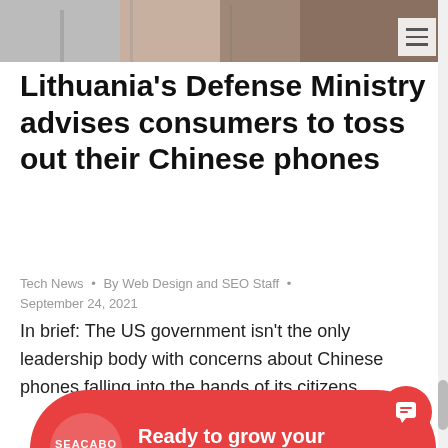[Figure (photo): Top banner image showing partial view of building facade or urban scene with reddish tones on the right side]
Lithuania's Defense Ministry advises consumers to toss out their Chinese phones
Tech News · By Web Design and SEO Staff · September 24, 2021
In brief: The US government isn't the only leadership body with concerns about Chinese phones falling into the hands of its citizens.
[Figure (infographic): Red pill-shaped advertisement overlay with SEACABO logo on left and text: Ready to grow your business? Let's get started!]
mobile devices this week — and to throw away the ones they have at the earliest opportu... These recommendations are not born out...